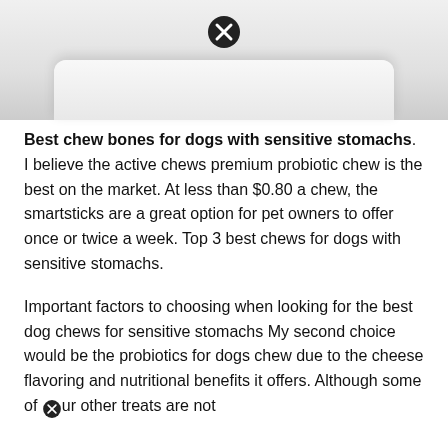[Figure (photo): Top portion of a white container or product packaging, partially cropped, with a close/remove button icon overlaid at the top center. Background is light gray gradient.]
Best chew bones for dogs with sensitive stomachs. I believe the active chews premium probiotic chew is the best on the market. At less than $0.80 a chew, the smartsticks are a great option for pet owners to offer once or twice a week. Top 3 best chews for dogs with sensitive stomachs.
Important factors to choosing when looking for the best dog chews for sensitive stomachs My second choice would be the probiotics for dogs chew due to the cheese flavoring and nutritional benefits it offers. Although some of our other treats are not